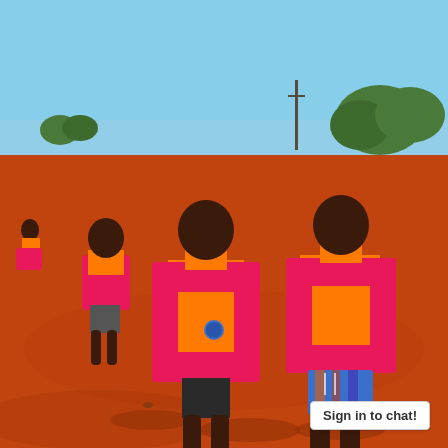[Figure (photo): Three young African children standing on a red dirt field wearing bright pink vests over orange shirts. Two children are in the foreground facing the camera, one child is in the background walking toward them. The sky is clear blue with trees visible in the distance.]
Sign in to chat!